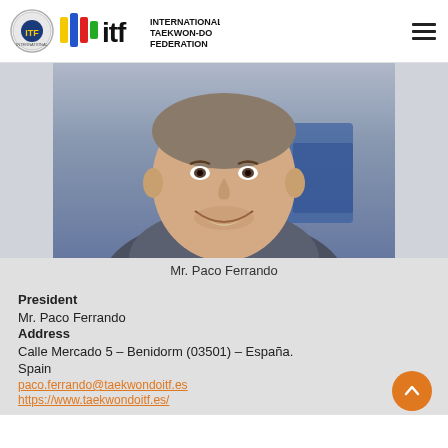International Taekwon-Do Federation
[Figure (photo): Headshot photo of Mr. Paco Ferrando, a middle-aged man smiling, wearing a grey blazer, with a blue background.]
Mr. Paco Ferrando
President
Mr. Paco Ferrando
Address
Calle Mercado 5 – Benidorm (03501) – España.
Spain
paco.ferrando@taekwondoitf.es
https://www.taekwondoitf.es/